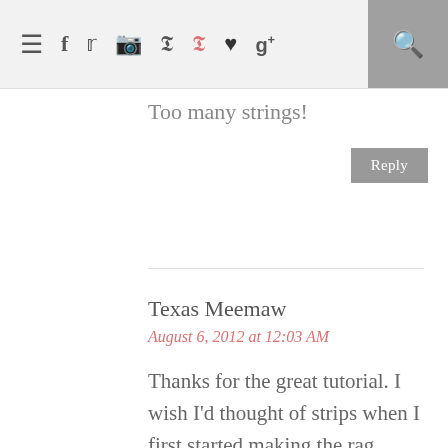≡ f t [instagram] p p ♥ g+ [search]
online about the safety of the rag quilts. Too many strings!
Reply
Texas Meemaw
August 6, 2012 at 12:03 AM
Thanks for the great tutorial. I wish I'd thought of strips when I first started making the rag quilts. I have used cotton on one side and flannel on the other on 2 or three of them and have had no problems at all. I like them to be thicker but not heavier so instead of